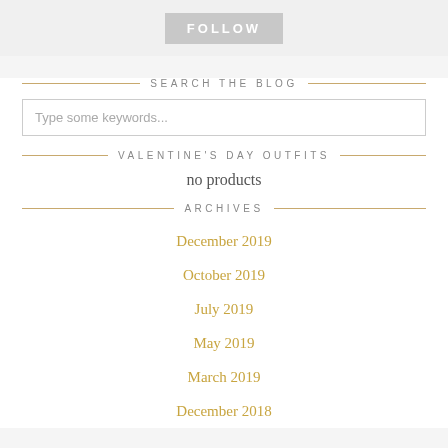FOLLOW
SEARCH THE BLOG
Type some keywords...
VALENTINE'S DAY OUTFITS
no products
ARCHIVES
December 2019
October 2019
July 2019
May 2019
March 2019
December 2018